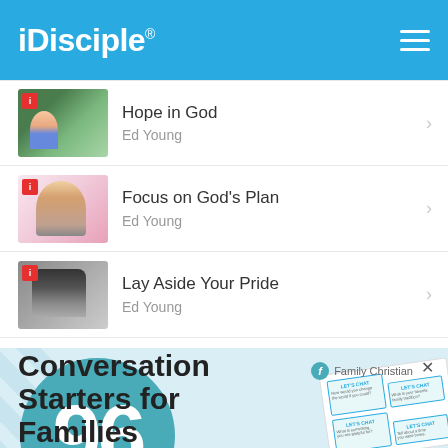iDisciple
Hope in God — Ed Young
Focus on God's Plan — Ed Young
Lay Aside Your Pride — Ed Young
[Figure (screenshot): Advertisement banner for Family Christian: '96 Conversation Starters for Families' with a teal circle showing '96' and promotional text]